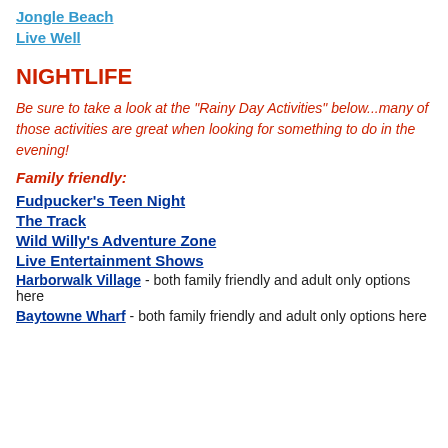Jongle Beach
Live Well
NIGHTLIFE
Be sure to take a look at the "Rainy Day Activities" below...many of those activities are great when looking for something to do in the evening!
Family friendly:
Fudpucker's Teen Night
The Track
Wild Willy's Adventure Zone
Live Entertainment Shows
Harborwalk Village - both family friendly and adult only options here
Baytowne Wharf - both family friendly and adult only options here